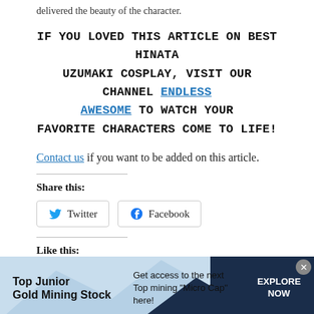delivered the beauty of the character.
IF YOU LOVED THIS ARTICLE ON BEST HINATA UZUMAKI COSPLAY, VISIT OUR CHANNEL ENDLESS AWESOME TO WATCH YOUR FAVORITE CHARACTERS COME TO LIFE!
Contact us if you want to be added on this article.
Share this:
Like this:
[Figure (infographic): Advertisement banner for Top Junior Gold Mining Stock with blue gradient background and mountain shapes. Text reads: Top Junior Gold Mining Stock | Get access to the next Top mining "Micro Cap" here! | EXPLORE NOW]